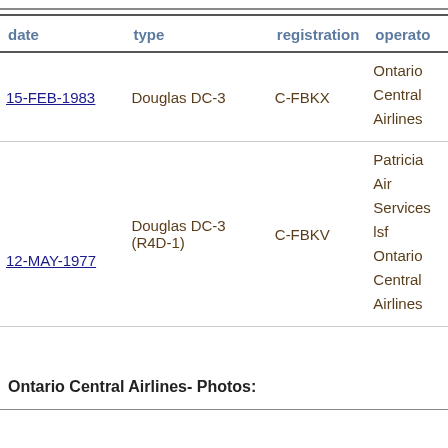| date | type | registration | operator |
| --- | --- | --- | --- |
| 15-FEB-1983 | Douglas DC-3 | C-FBKX | Ontario Central Airlines |
| 12-MAY-1977 | Douglas DC-3 (R4D-1) | C-FBKV | Patricia Air Services lsf Ontario Central Airlines |
Ontario Central Airlines- Photos: